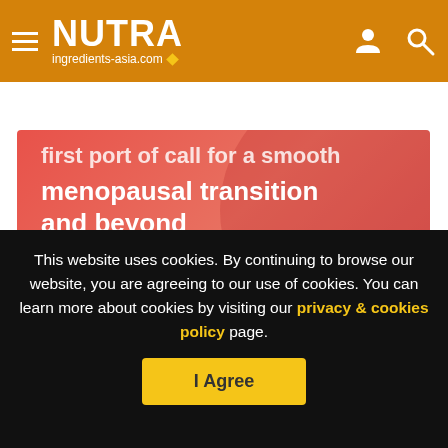NUTRA ingredients-asia.com
[Figure (illustration): Red/coral gradient promotional banner for a report about menopausal transition. Contains bold white text 'first port of call for a smooth menopausal transition and beyond' with a yellow 'BUY REPORT' button and white arrow decorations.]
Copyright - Unless otherwise stated all contents of this web site are © 2022 - William Reed Ltd - All Rights Reserved - Full details for the use of
This website uses cookies. By continuing to browse our website, you are agreeing to our use of cookies. You can learn more about cookies by visiting our privacy & cookies policy page.
I Agree